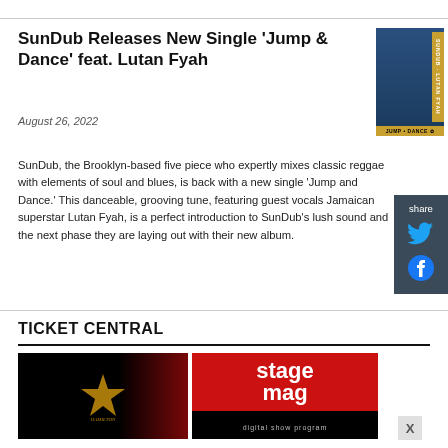SunDub Releases New Single 'Jump & Dance' feat. Lutan Fyah
August 26, 2022
[Figure (photo): Album cover art for SunDub Jump & Dance featuring Lutan Fyah]
SunDub, the Brooklyn-based five piece who expertly mixes classic reggae with elements of soul and blues, is back with a new single 'Jump and Dance.' This danceable, grooving tune, featuring guest vocals Jamaican superstar Lutan Fyah, is a perfect introduction to SunDub's lush sound and the next phase they are laying out with their new album.
TICKET CENTRAL
[Figure (photo): Hamilton musical advertisement image with gold star on black background with red curtain]
[Figure (logo): Stage Mag digital show program logo on red and black background]